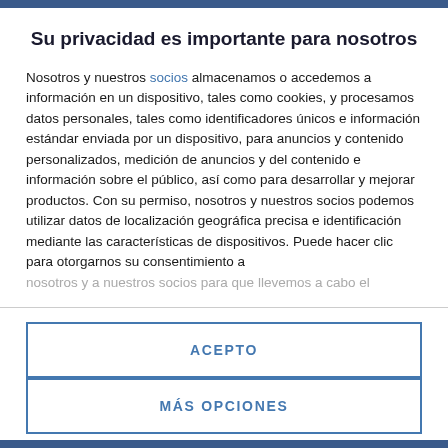Su privacidad es importante para nosotros
Nosotros y nuestros socios almacenamos o accedemos a información en un dispositivo, tales como cookies, y procesamos datos personales, tales como identificadores únicos e información estándar enviada por un dispositivo, para anuncios y contenido personalizados, medición de anuncios y del contenido e información sobre el público, así como para desarrollar y mejorar productos. Con su permiso, nosotros y nuestros socios podemos utilizar datos de localización geográfica precisa e identificación mediante las características de dispositivos. Puede hacer clic para otorgarnos su consentimiento a
nosotros y a nuestros socios para que llevemos a cabo el
ACEPTO
MÁS OPCIONES